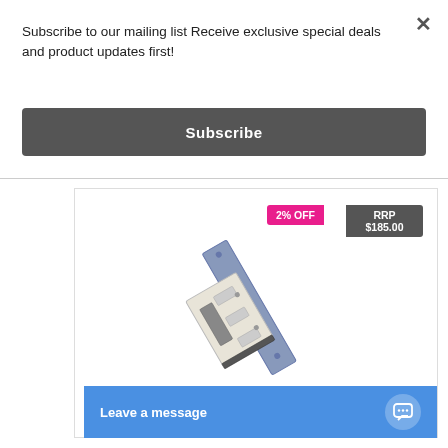Subscribe to our mailing list Receive exclusive special deals and product updates first!
Subscribe
[Figure (photo): Photo of a door electric strike lock hardware component, silver/chrome colored rectangular plate with locking mechanism]
2% OFF
RRP $185.00
Leave a message